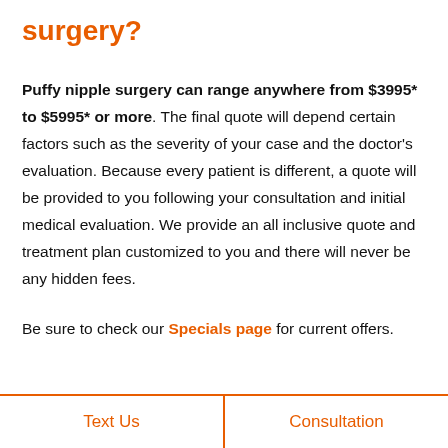surgery?
Puffy nipple surgery can range anywhere from $3995* to $5995* or more. The final quote will depend certain factors such as the severity of your case and the doctor's evaluation. Because every patient is different, a quote will be provided to you following your consultation and initial medical evaluation. We provide an all inclusive quote and treatment plan customized to you and there will never be any hidden fees.
Be sure to check our Specials page for current offers.
Text Us    Consultation